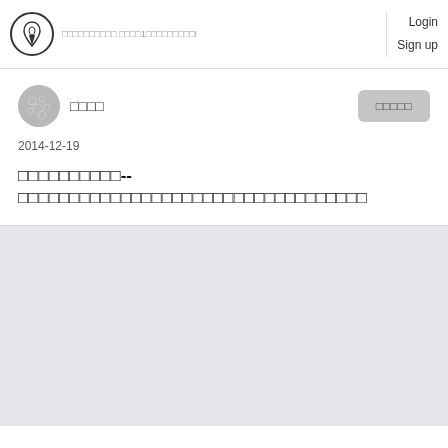□□□□□□□□□□  □□□□1□□□□□□□□□!  Login  Sign up
[Figure (illustration): Circular logo with fountain pen nib icon]
[Figure (illustration): Gray circular user avatar]
□□□□
□□□□□
2014-12-19
□□□□□□□□□□--□□□□□□□□□□□□□□□□□□□□□□□□□□□□□□□□□□